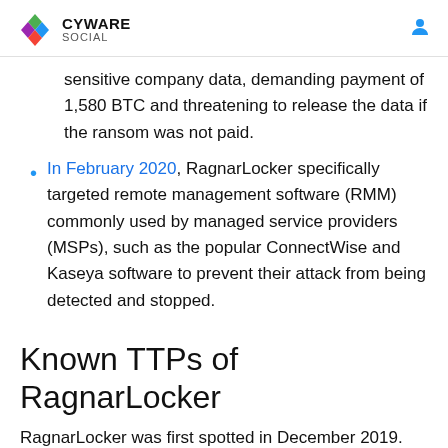CYWARE SOCIAL
sensitive company data, demanding payment of 1,580 BTC and threatening to release the data if the ransom was not paid.
In February 2020, RagnarLocker specifically targeted remote management software (RMM) commonly used by managed service providers (MSPs), such as the popular ConnectWise and Kaseya software to prevent their attack from being detected and stopped.
Known TTPs of RagnarLocker
RagnarLocker was first spotted in December 2019. Since then, there has been a common pattern visible in